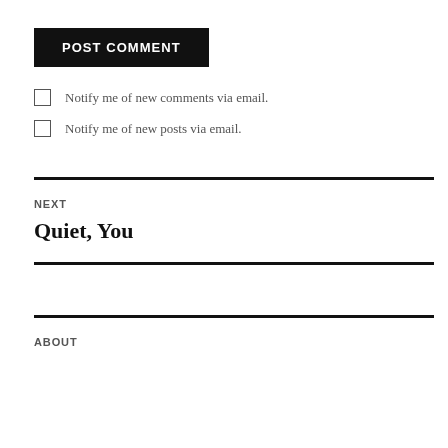POST COMMENT
Notify me of new comments via email.
Notify me of new posts via email.
NEXT
Quiet, You
ABOUT